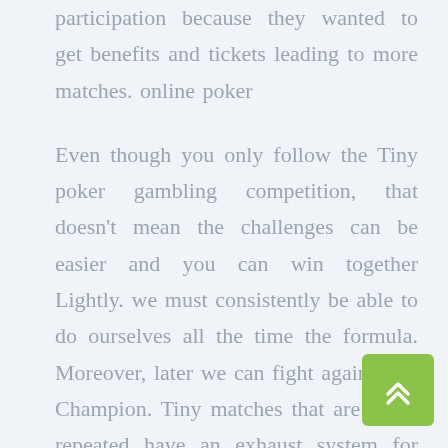participation because they wanted to get benefits and tickets leading to more matches. online poker
Even though you only follow the Tiny poker gambling competition, that doesn't mean the challenges can be easier and you can win together Lightly. we must consistently be able to do ourselves all the time the formula. Moreover, later we can fight against the Champion. Tiny matches that are being repeated have an exhaust system for sorting the smartest bettors who can later fight home with other